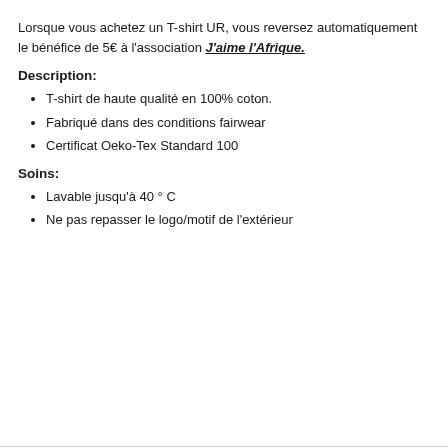Lorsque vous achetez un T-shirt UR, vous reversez automatiquement le bénéfice de 5€ à l'association J'aime l'Afrique.
Description:
T-shirt de haute qualité en 100% coton.
Fabriqué dans des conditions fairwear
Certificat Oeko-Tex Standard 100
Soins:
Lavable jusqu'à 40 ° C
Ne pas repasser le logo/motif de l'extérieur